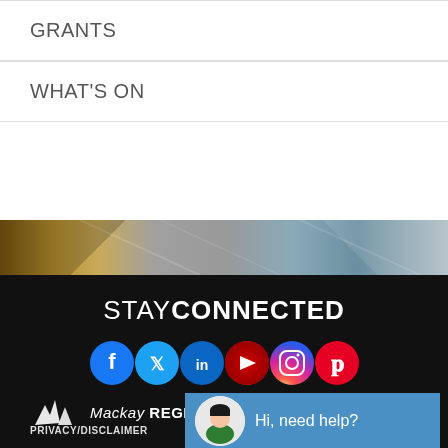GRANTS
WHAT'S ON
[Figure (illustration): Decorative banner strip with brown, grey, and blue gradient tones]
STAY CONNECTED
[Figure (infographic): Social media icons row: Facebook, Twitter, LinkedIn, YouTube, Instagram, Pinterest]
[Figure (logo): Mackay Regional Council logo with stylized bird/flag icons and text]
PRIVACY/DISCLAIMER
[Figure (screenshot): Chat widget popup with avatar and text: Hi, need help?]